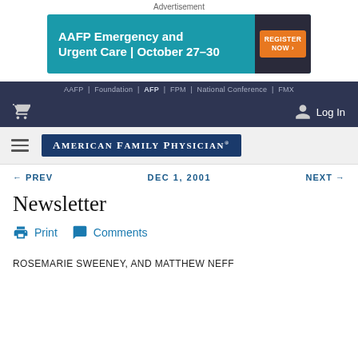Advertisement
[Figure (infographic): AAFP Emergency and Urgent Care | October 27-30 banner advertisement with teal background and orange REGISTER NOW button]
AAFP | Foundation | AFP | FPM | National Conference | FMX
Log In (navigation bar with cart icon)
[Figure (logo): American Family Physician logo badge in dark blue]
← PREV   DEC 1, 2001   NEXT →
Newsletter
Print   Comments
ROSEMARIE SWEENEY, AND MATTHEW NEFF